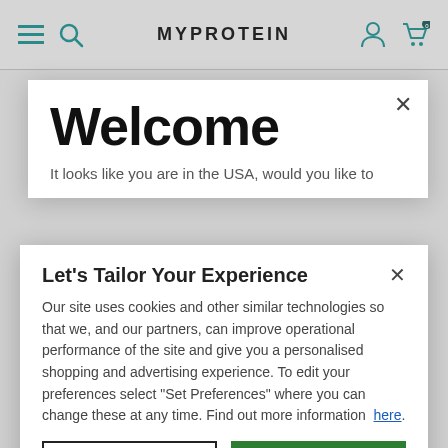MYPROTEIN
Welcome
It looks like you are in the USA, would you like to
Let's Tailor Your Experience
Our site uses cookies and other similar technologies so that we, and our partners, can improve operational performance of the site and give you a personalised shopping and advertising experience. To edit your preferences select "Set Preferences" where you can change these at any time. Find out more information here.
Set Preferences
That's OK